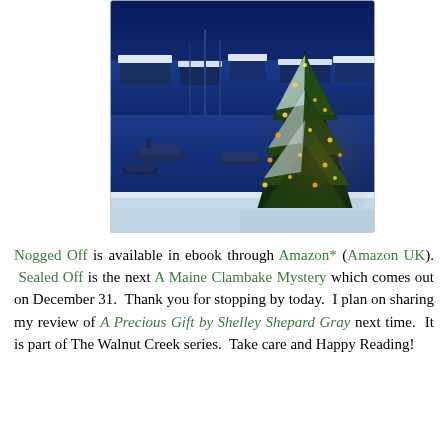[Figure (photo): A snowy winter harbor scene at dusk with a large illuminated Christmas tree in the foreground, boats docked in the marina, and buildings and bare trees in the background under a deep blue sky.]
Nogged Off is available in ebook through Amazon* (Amazon UK). Sealed Off is the next A Maine Clambake Mystery which comes out on December 31. Thank you for stopping by today. I plan on sharing my review of A Precious Gift by Shelley Shepard Gray next time. It is part of The Walnut Creek series. Take care and Happy Reading!